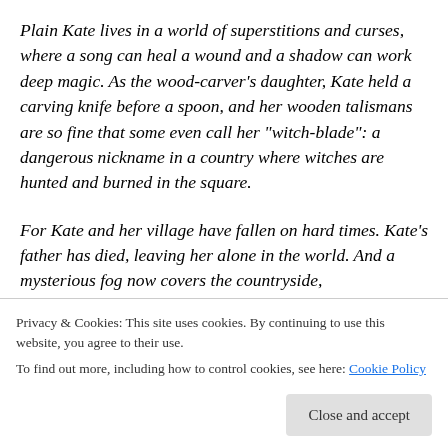Plain Kate lives in a world of superstitions and curses, where a song can heal a wound and a shadow can work deep magic. As the wood-carver's daughter, Kate held a carving knife before a spoon, and her wooden talismans are so fine that some even call her “witch-blade”: a dangerous nickname in a country where witches are hunted and burned in the square.
For Kate and her village have fallen on hard times. Kate’s father has died, leaving her alone in the world. And a mysterious fog now covers the countryside.
Privacy & Cookies: This site uses cookies. By continuing to use this website, you agree to their use.
To find out more, including how to control cookies, see here: Cookie Policy